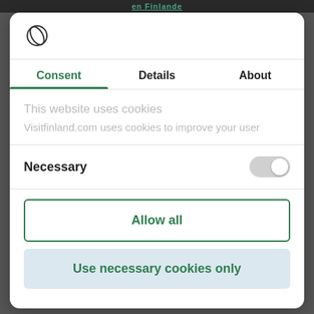en Finlande
[Figure (logo): Circular leaf/orb logo icon in outline style]
Consent | Details | About
This website uses cookies
Visitfinland.com uses cookies to improve your user
Necessary
Allow all
Use necessary cookies only
Powered by Cookiebot by Usercentrics